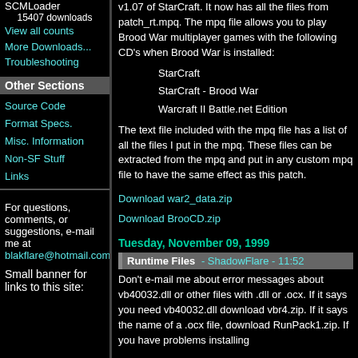SCMLoader
15407 downloads
View all counts
More Downloads...
Troubleshooting
Other Sections
Source Code
Format Specs.
Misc. Information
Non-SF Stuff
Links
For questions, comments, or suggestions, e-mail me at blakflare@hotmail.com
Small banner for links to this site:
v1.07 of StarCraft. It now has all the files from patch_rt.mpq. The mpq file allows you to play Brood War multiplayer games with the following CD's when Brood War is installed:
StarCraft
StarCraft - Brood War
Warcraft II Battle.net Edition
The text file included with the mpq file has a list of all the files I put in the mpq. These files can be extracted from the mpq and put in any custom mpq file to have the same effect as this patch.
Download war2_data.zip
Download BrooCD.zip
Tuesday, November 09, 1999
Runtime Files - ShadowFlare - 11:52
Don't e-mail me about error messages about vb40032.dll or other files with .dll or .ocx. If it says you need vb40032.dll download vbr4.zip. If it says the name of a .ocx file, download RunPack1.zip. If you have problems installing